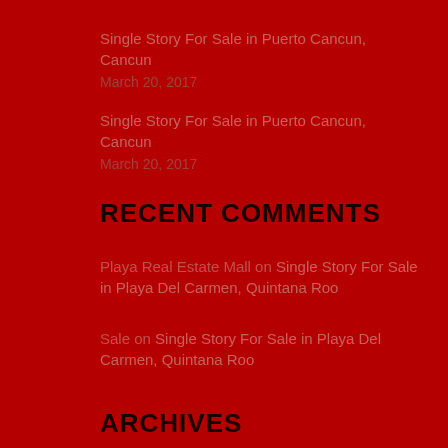Single Story For Sale in Puerto Cancun, Cancun
March 20, 2017
Single Story For Sale in Puerto Cancun, Cancun
March 20, 2017
RECENT COMMENTS
Playa Real Estate Mall on Single Story For Sale in Playa Del Carmen, Quintana Roo
Sale on Single Story For Sale in Playa Del Carmen, Quintana Roo
ARCHIVES